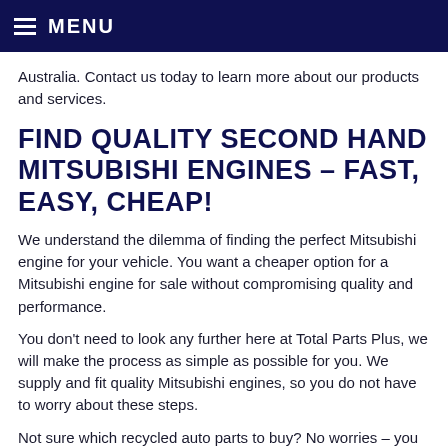MENU
Australia. Contact us today to learn more about our products and services.
FIND QUALITY SECOND HAND MITSUBISHI ENGINES – FAST, EASY, CHEAP!
We understand the dilemma of finding the perfect Mitsubishi engine for your vehicle. You want a cheaper option for a Mitsubishi engine for sale without compromising quality and performance.
You don't need to look any further here at Total Parts Plus, we will make the process as simple as possible for you. We supply and fit quality Mitsubishi engines, so you do not have to worry about these steps.
Not sure which recycled auto parts to buy? No worries – you can consult our expert sales team to assist you with your needs.